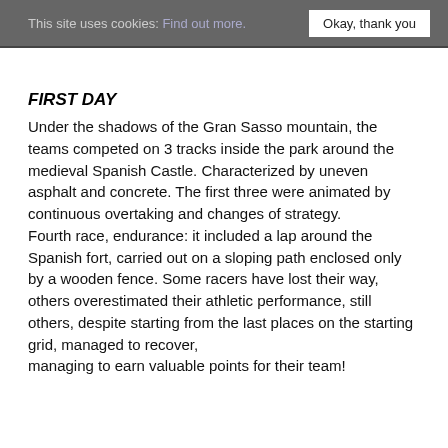This site uses cookies: Find out more.   Okay, thank you
FIRST DAY
Under the shadows of the Gran Sasso mountain, the teams competed on 3 tracks inside the park around the medieval Spanish Castle. Characterized by uneven asphalt and concrete. The first three were animated by continuous overtaking and changes of strategy. Fourth race, endurance: it included a lap around the Spanish fort, carried out on a sloping path enclosed only by a wooden fence. Some racers have lost their way, others overestimated their athletic performance, still others, despite starting from the last places on the starting grid, managed to recover, managing to earn valuable points for their team!